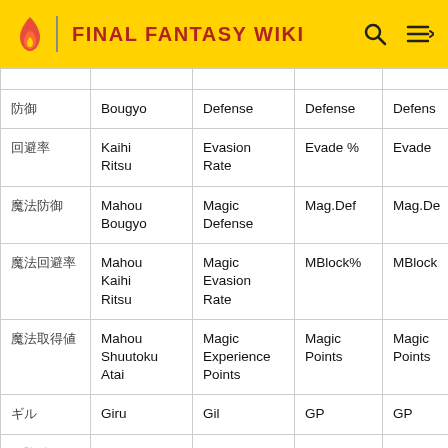FINAL FANTASY WIKI
| [Japanese] | Romanization | English | Col4 | Col5 |
| --- | --- | --- | --- | --- |
|  |  |  |  |  |
| 防御 | Bougyo | Defense | Defense | Defens |
| 回避率 | Kaihi Ritsu | Evasion Rate | Evade % | Evade |
| 魔法防御 | Mahou Bougyo | Magic Defense | Mag.Def | Mag.De |
| 魔法回避率 | Mahou Kaihi Ritsu | Magic Evasion Rate | MBlock% | MBlock |
| 魔法取得値 | Mahou Shuutoku Atai | Magic Experience Points | Magic Points | Magic Points |
| ギル | Giru | Gil | GP | GP |
| 経験値 | Keikenchi | Experience | EXP | EXP |